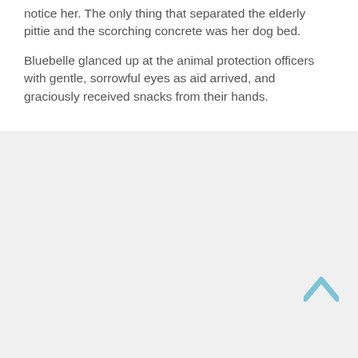notice her. The only thing that separated the elderly pittie and the scorching concrete was her dog bed.
Bluebelle glanced up at the animal protection officers with gentle, sorrowful eyes as aid arrived, and graciously received snacks from their hands.